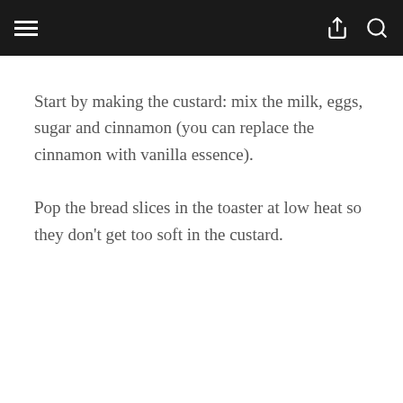Start by making the custard: mix the milk, eggs, sugar and cinnamon (you can replace the cinnamon with vanilla essence).
Pop the bread slices in the toaster at low heat so they don't get too soft in the custard.